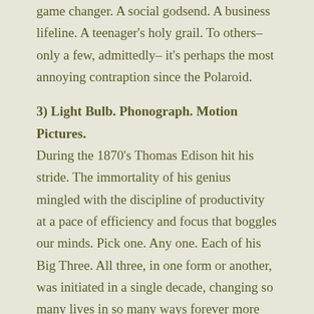game changer. A social godsend. A business lifeline. A teenager's holy grail. To others–only a few, admittedly– it's perhaps the most annoying contraption since the Polaroid.
3) Light Bulb. Phonograph. Motion Pictures. During the 1870's Thomas Edison hit his stride. The immortality of his genius mingled with the discipline of productivity at a pace of efficiency and focus that boggles our minds. Pick one. Any one. Each of his Big Three. All three, in one form or another, was initiated in a single decade, changing so many lives in so many ways forever more that to consider the combined implications and consequences of them all is to toy with re-inventing a typical day in the typical life of a typical American